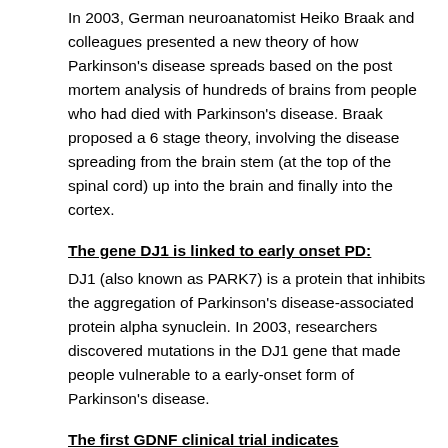In 2003, German neuroanatomist Heiko Braak and colleagues presented a new theory of how Parkinson's disease spreads based on the post mortem analysis of hundreds of brains from people who had died with Parkinson's disease. Braak proposed a 6 stage theory, involving the disease spreading from the brain stem (at the top of the spinal cord) up into the brain and finally into the cortex.
The gene DJ1 is linked to early onset PD:
DJ1 (also known as PARK7) is a protein that inhibits the aggregation of Parkinson's disease-associated protein alpha synuclein. In 2003, researchers discovered mutations in the DJ1 gene that made people vulnerable to a early-onset form of Parkinson's disease.
The first GDNF clinical trial indicates neuroprotection in people with Parkinson's disease: